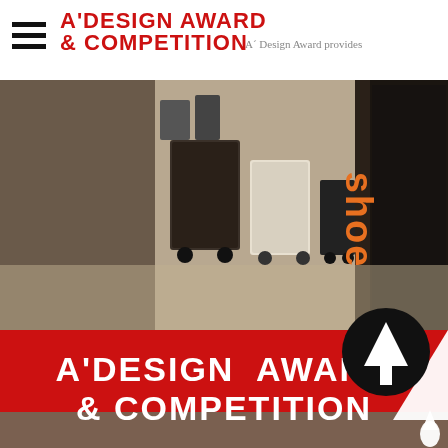A'DESIGN AWARD & COMPETITION — A´ Design Award provides
[Figure (photo): Interior photo of a retail or exhibition space showing equipment cases on wheels and a dark display panel with orange 'shoe' text on the right side. Neutral beige/grey floor.]
A'DESIGN AWARD & COMPETITION
[Figure (logo): White A-prime logo with water drop on red background banner]